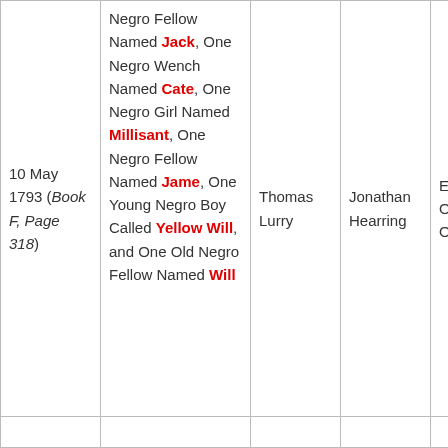| Date | Description | Grantor/Grantee | Witness | Other |
| --- | --- | --- | --- | --- |
| 10 May 1793 (Book F, Page 318) | Negro Fellow Named Jack, One Negro Wench Named Cate, One Negro Girl Named Millisant, One Negro Fellow Named Jame, One Young Negro Boy Called Yellow Will, and One Old Negro Fellow Named Will | Thomas Lurry | Jonathan Hearring | Eus O'B O'B |
|  |  |  |  |  |